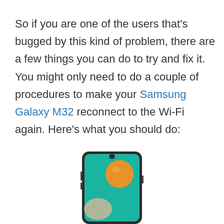So if you are one of the users that's bugged by this kind of problem, there are a few things you can do to try and fix it. You might only need to do a couple of procedures to make your Samsung Galaxy M32 reconnect to the Wi-Fi again. Here's what you should do:
[Figure (photo): Samsung Galaxy M32 smartphone showing the front of the device with a teal/turquoise wallpaper and an orange circular shape, partially cropped at the bottom of the page]